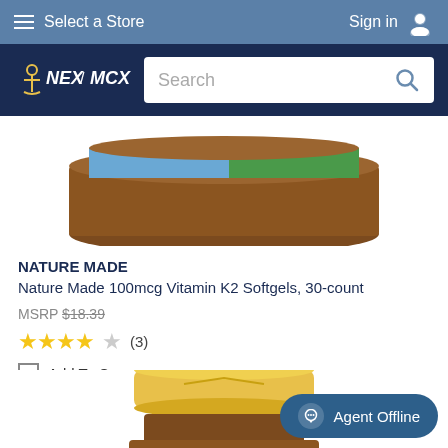Select a Store | Sign in
[Figure (logo): NEX / MCX logo with anchor icon on dark navy background, with search bar]
[Figure (photo): Top portion of a Nature Made vitamin supplement bottle with brown cap, yellow and blue label visible]
NATURE MADE
Nature Made 100mcg Vitamin K2 Softgels, 30-count
MSRP $18.39
★★★★☆ (3)
Add To Compare
[Figure (photo): Bottom portion of a Nature Made vitamin supplement bottle showing yellow cap and amber-brown bottle body]
Agent Offline